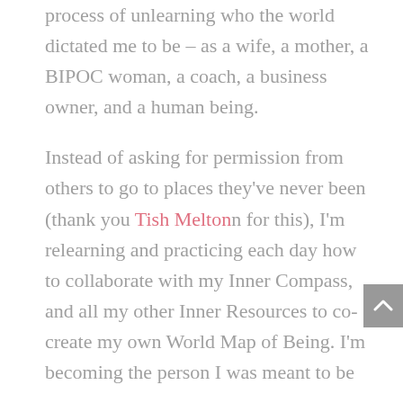process of unlearning who the world dictated me to be – as a wife, a mother, a BIPOC woman, a coach, a business owner, and a human being.
Instead of asking for permission from others to go to places they've never been (thank you Tish Melton for this), I'm relearning and practicing each day how to collaborate with my Inner Compass, and all my other Inner Resources to co-create my own World Map of Being. I'm becoming the person I was meant to be